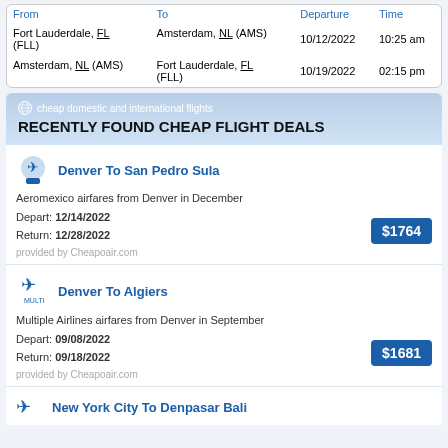| From | To | Departure | Time |
| --- | --- | --- | --- |
| Fort Lauderdale, FL (FLL) | Amsterdam, NL (AMS) | 10/12/2022 | 10:25 am |
| Amsterdam, NL (AMS) | Fort Lauderdale, FL (FLL) | 10/19/2022 | 02:15 pm |
cheap domestic and international flights
RECENTLY FOUND CHEAP FLIGHT DEALS
Denver To San Pedro Sula
Aeromexico airfares from Denver in December
Depart: 12/14/2022
Return: 12/28/2022
$1764
provided by Cheapoair.com
Denver To Algiers
Multiple Airlines airfares from Denver in September
Depart: 09/08/2022
Return: 09/18/2022
$1681
provided by Cheapoair.com
New York City To Denpasar Bali